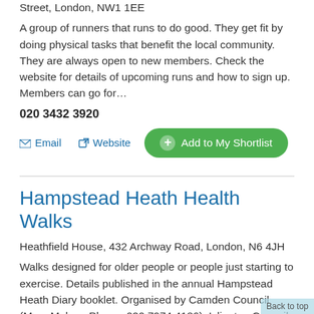Street, London, NW1 1EE
A group of runners that runs to do good. They get fit by doing physical tasks that benefit the local community. They are always open to new members. Check the website for details of upcoming runs and how to sign up. Members can go for…
020 3432 3920
Email  Website  Add to My Shortlist
Hampstead Heath Health Walks
Heathfield House, 432 Archway Road, London, N6 4JH
Walks designed for older people or people just starting to exercise. Details published in the annual Hampstead Heath Diary booklet. Organised by Camden Council (Marc Malone Phone: 020 7974 4186). Islington Council (Emma Charlton Phone: 020